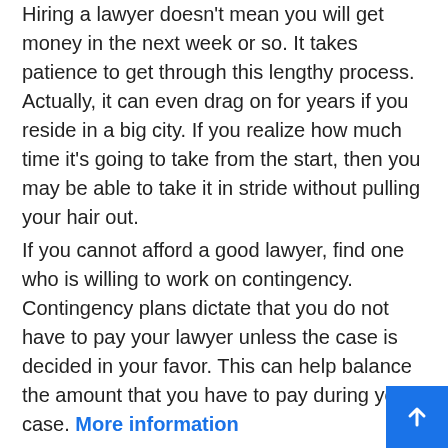Hiring a lawyer doesn't mean you will get money in the next week or so. It takes patience to get through this lengthy process. Actually, it can even drag on for years if you reside in a big city. If you realize how much time it's going to take from the start, then you may be able to take it in stride without pulling your hair out.
If you cannot afford a good lawyer, find one who is willing to work on contingency. Contingency plans dictate that you do not have to pay your lawyer unless the case is decided in your favor. This can help balance the amount that you have to pay during your case. More information
Where your lawyer has situated matters a lot. You will probably have to make stops at the office, so you do not want it to be too far away. By having a local lawyer, you can easily get in touch with them. Additionally, if you are nearby, your attorney will be more likely to respond to you quickly.
Save any receipts related to your personal injury. You can these items to show how much money you had to pay as